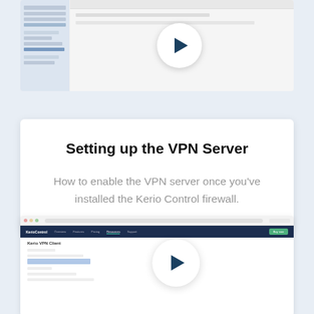[Figure (screenshot): Screenshot of a software UI (appears to be Kerio Control firewall admin panel) with a play button overlay circle in the center, indicating a video thumbnail]
Setting up the VPN Server
How to enable the VPN server once you've installed the Kerio Control firewall.
[Figure (screenshot): Screenshot of Kerio Control web interface showing 'Kerio VPN Client' page in a browser, with a play button overlay circle indicating a video thumbnail. The navigation bar shows Overview, Features, Pricing, Resources, Support tabs and a green Buy Now button.]